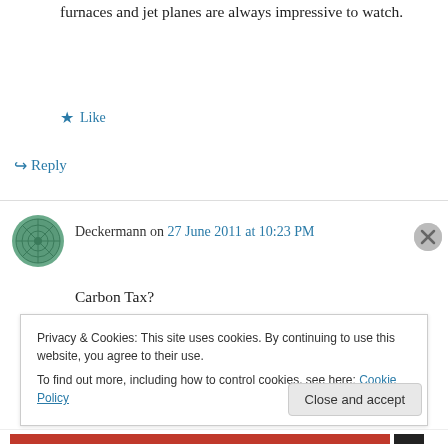furnaces and jet planes are always impressive to watch.
★ Like
↪ Reply
Deckermann on 27 June 2011 at 10:23 PM
Carbon Tax?
Personally the jury is still out. But I do think that sometimes our position is overstated in the
Privacy & Cookies: This site uses cookies. By continuing to use this website, you agree to their use.
To find out more, including how to control cookies, see here: Cookie Policy
Close and accept